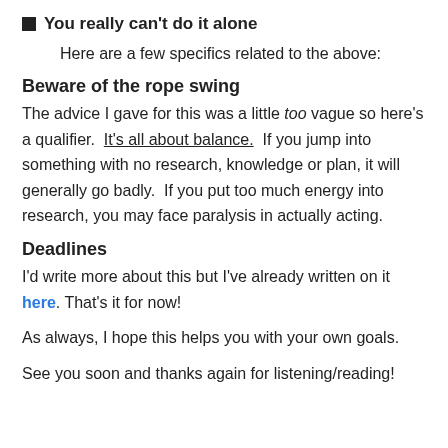You really can't do it alone
Here are a few specifics related to the above:
Beware of the rope swing
The advice I gave for this was a little too vague so here's a qualifier.  It's all about balance.  If you jump into something with no research, knowledge or plan, it will generally go badly.  If you put too much energy into research, you may face paralysis in actually acting.
Deadlines
I'd write more about this but I've already written on it here.  That's it for now!
As always, I hope this helps you with your own goals.
See you soon and thanks again for listening/reading!